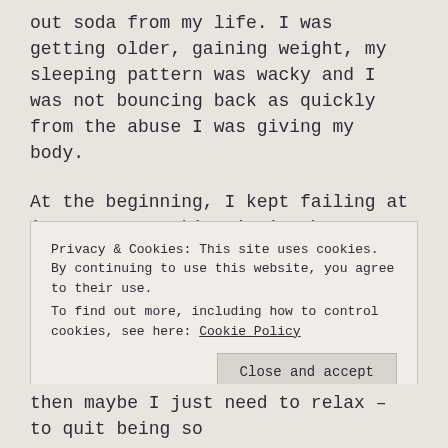out soda from my life. I was getting older, gaining weight, my sleeping pattern was wacky and I was not bouncing back as quickly from the abuse I was giving my body.
At the beginning, I kept failing at it. I was sneaking it in when no one was around. I would lie if anyone asked if I had had any soda. Then I'd be plagued with guilt and shame. I felt pretty pathetic. And I really thought I couldn't do it. That I was doomed to age badly with osteoporosis.
Privacy & Cookies: This site uses cookies. By continuing to use this website, you agree to their use.
To find out more, including how to control cookies, see here: Cookie Policy
then maybe I just need to relax – to quit being so